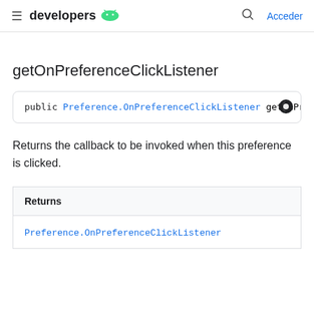developers  Acceder
getOnPreferenceClickListener
public Preference.OnPreferenceClickListener getOnPre
Returns the callback to be invoked when this preference is clicked.
| Returns |
| --- |
| Preference.OnPreferenceClickListener |